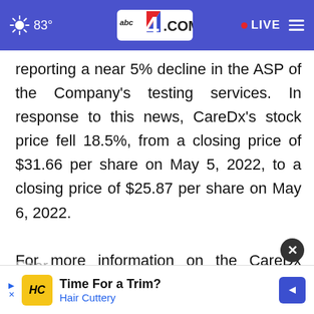83° abc4.com LIVE
reporting a near 5% decline in the ASP of the Company's testing services. In response to this news, CareDx's stock price fell 18.5%, from a closing price of $31.66 per share on May 5, 2022, to a closing price of $25.87 per share on May 6, 2022.

For more information on the CareDx class action go to: https://bespc.com/cases/CDNA
Sper…
[Figure (screenshot): Advertisement banner: Time For a Trim? Hair Cuttery with HC logo and navigation arrow]